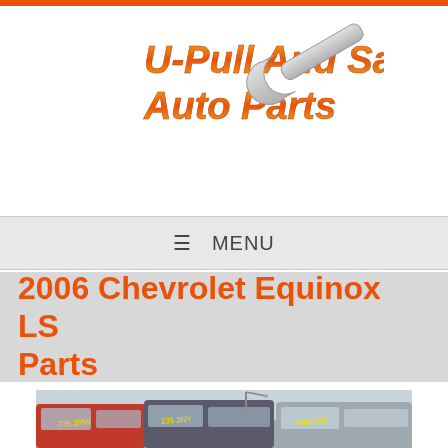[Figure (logo): U-Pull And Save Auto Parts logo with wrench graphic, orange and yellow gradient text]
☰ MENU
2006 Chevrolet Equinox LS Parts
[Figure (photo): Junkyard/salvage yard photo showing rows of SUVs and cars with price markings on windshields, overcast sky in background]